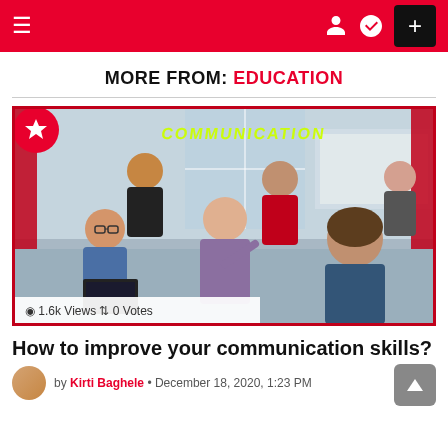MORE FROM: EDUCATION
[Figure (photo): Group of people in a meeting/communication setting with 'COMMUNICATION' text overlay in yellow-green. Shows several young adults in an office environment, one woman speaking to the group. Has a star badge in top-left corner and stats bar showing '1.6k Views' and '0 Votes'.]
How to improve your communication skills?
by Kirti Baghele • December 18, 2020, 1:23 PM